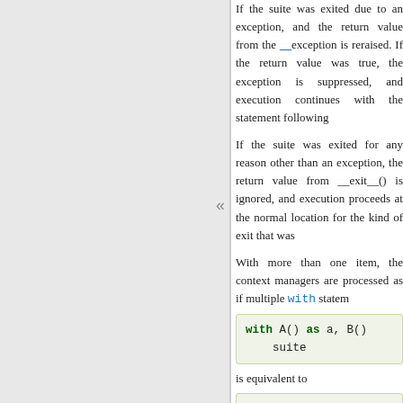If the suite was exited due to an exception, and the return value from the __exit__() method was false, the exception is reraised. If the return value was true, the exception is suppressed, and execution continues with the statement following the with statement.
If the suite was exited for any reason other than an exception, the return value from __exit__() is ignored, and execution proceeds at the normal location for the kind of exit that was taken.
With more than one item, the context managers are processed as if multiple with statements were nested:
[Figure (screenshot): Code block showing: with A() as a, B()    suite]
is equivalent to
[Figure (screenshot): Code block showing: with A() as a:     with B() as b:         suite]